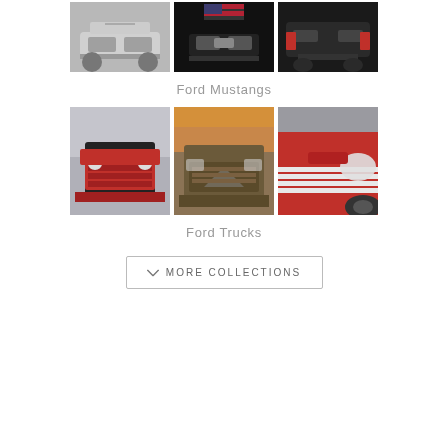[Figure (photo): Three photos of Ford Mustang cars in black and white]
Ford Mustangs
[Figure (photo): Three photos of Ford Trucks, including red classic trucks]
Ford Trucks
MORE COLLECTIONS